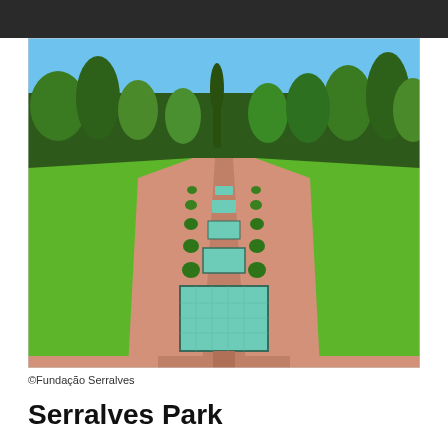[Figure (photo): Aerial perspective of Serralves Park garden showing a long formal axis with rectangular reflecting pools and water features flanked by manicured green lawns, topiary shrubs, and pink/terracotta paved paths, surrounded by tall trees under a clear blue sky.]
©Fundação Serralves
Serralves Park